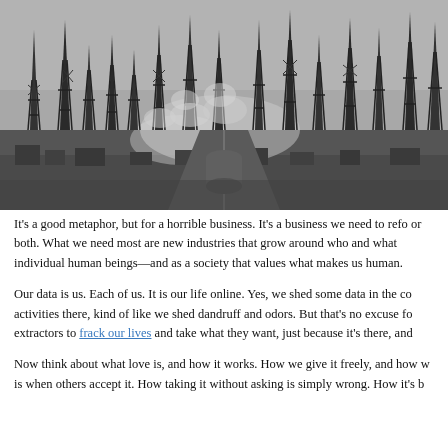[Figure (photo): Black and white historical photograph of a dense oil field with numerous oil derricks/drilling rigs crowding the landscape, with smoke rising from industrial activity below]
It's a good metaphor, but for a horrible business. It's a business we need to refo or both. What we need most are new industries that grow around who and what individual human beings—and as a society that values what makes us human.
Our data is us. Each of us. It is our life online. Yes, we shed some data in the co activities there, kind of like we shed dandruff and odors. But that's no excuse fo extractors to frack our lives and take what they want, just because it's there, and
Now think about what love is, and how it works. How we give it freely, and how w is when others accept it. How taking it without asking is simply wrong. How it's b